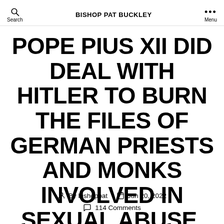BISHOP PAT BUCKLEY
POPE PIUS XII DID DEAL WITH HITLER TO BURN THE FILES OF GERMAN PRIESTS AND MONKS INVOLVED IN SEXUAL ABUSE.
By bishoppat  Jun 20, 2022  114 Comments